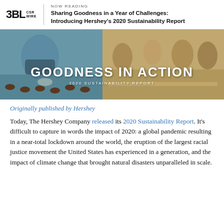3BL CSR WIRE | NOW READING | Sharing Goodness in a Year of Challenges: Introducing Hershey's 2020 Sustainability Report
[Figure (photo): Hero image showing two panels: left panel shows a factory worker in mask and gloves handling chocolate products on a production line; right panel shows a family (adults and children) engaged in a baking/cooking activity. Overlaid text reads 'GOODNESS IN ACTION' and '2020 SUSTAINABILITY REPORT'.]
Originally published by Hershey
Today, The Hershey Company released its 2020 Sustainability Report. It's difficult to capture in words the impact of 2020: a global pandemic resulting in a near-total lockdown around the world, the eruption of the largest racial justice movement the United States has experienced in a generation, and the impact of climate change that brought natural disasters unparalleled in scale.
In the years that we have had the good fortune to individually and...